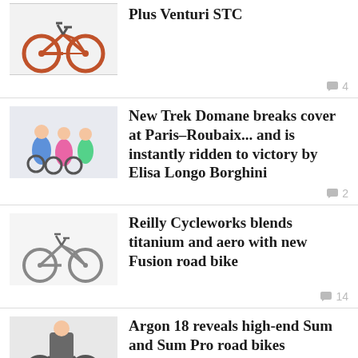[Figure (photo): Orange road bike on white background]
Plus Venturi STC
4 comments
[Figure (photo): Cyclists racing at Paris-Roubaix]
New Trek Domane breaks cover at Paris–Roubaix... and is instantly ridden to victory by Elisa Longo Borghini
2 comments
[Figure (photo): Grey road bike on white background]
Reilly Cycleworks blends titanium and aero with new Fusion road bike
14 comments
[Figure (photo): Road bike being ridden by cyclist]
Argon 18 reveals high‑end Sum and Sum Pro road bikes
9 comments
[Figure (photo): Ribble video thumbnail showing bike frame closeup]
Ribble launch radical new Ultra aero road bike (+ video)